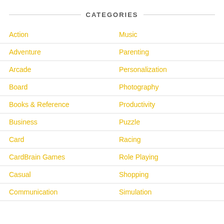CATEGORIES
Action
Music
Adventure
Parenting
Arcade
Personalization
Board
Photography
Books & Reference
Productivity
Business
Puzzle
Card
Racing
CardBrain Games
Role Playing
Casual
Shopping
Communication
Simulation